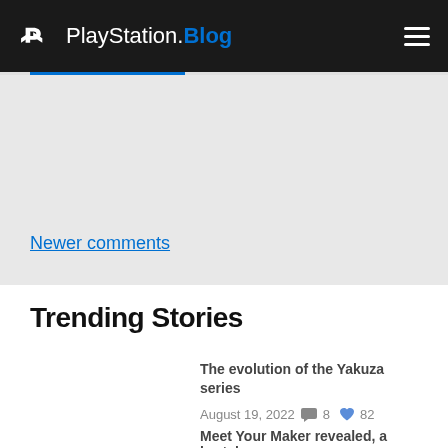PlayStation.Blog
Newer comments
Trending Stories
The evolution of the Yakuza series
August 19, 2022  8  82
Meet Your Maker revealed, a brutal